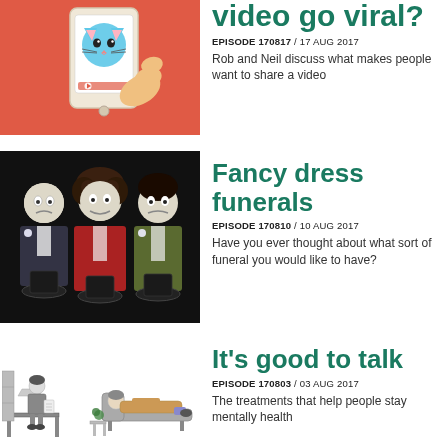[Figure (illustration): Phone with cat emoji displayed on screen, held by hand, on red/coral background]
video go viral?
EPISODE 170817 / 17 AUG 2017
Rob and Neil discuss what makes people want to share a video
[Figure (photo): Three men in theatrical costumes with white face paint and formal suits holding black hats]
Fancy dress funerals
EPISODE 170810 / 10 AUG 2017
Have you ever thought about what sort of funeral you would like to have?
[Figure (illustration): Black and white cartoon of a therapist session, doctor at desk and patient on couch]
"It goes back to being pulled out of the hat."
It's good to talk
EPISODE 170803 / 03 AUG 2017
The treatments that help people stay mentally healthy